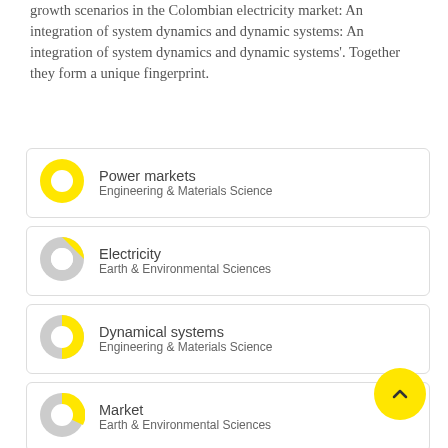growth scenarios in the Colombian electricity market: An integration of system dynamics and dynamic systems: An integration of system dynamics and dynamic systems'. Together they form a unique fingerprint.
Power markets — Engineering & Materials Science
Electricity — Earth & Environmental Sciences
Dynamical systems — Engineering & Materials Science
Market — Earth & Environmental Sciences
Demand — Earth & Environmental Sciences